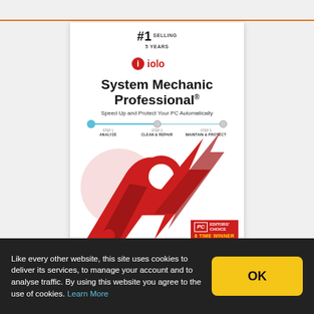[Figure (screenshot): Product box for iolo System Mechanic Professional software, showing #1 Selling 5 Years badge, iolo logo, product title, tagline 'Speed Up and Protect Your PC Automatically', a 3-step progress bar (Analyze, Clean & Repair, Maintain & Protect), red/white graphic of crossed wrench and bolt, PC Magazine Editors' Choice 8 Time Winner badge, and small icons at the bottom.]
Like every other website, this site uses cookies to deliver its services, to manage your account and to analyse traffic. By using this website you agree to the use of cookies. Learn More
OK